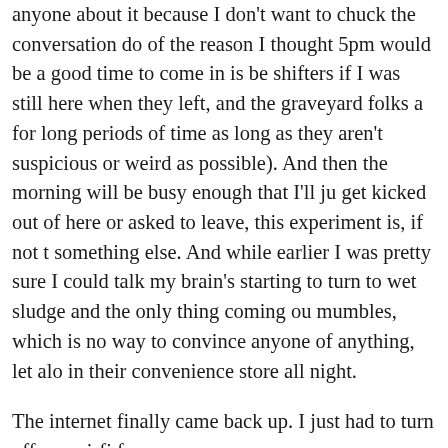anyone about it because I don't want to chuck the conversation do of the reason I thought 5pm would be a good time to come in is be shifters if I was still here when they left, and the graveyard folks a for long periods of time as long as they aren't suspicious or weird as possible). And then the morning will be busy enough that I'll ju get kicked out of here or asked to leave, this experiment is, if not t something else. And while earlier I was pretty sure I could talk my brain's starting to turn to wet sludge and the only thing coming ou mumbles, which is no way to convince anyone of anything, let alo in their convenience store all night.
The internet finally came back up. I just had to turn off my wi-fi f
RaceTrac charges $.44 per ounce, but if you can buy a pre-packed why would 32oz of self-serve cost over $14? I've sent them an e-m still haven't heard from them).
2nd shift's almost over. Time for restocking & front-facing. Clean Take a smoke break if you've been waiting for one. Drain the wato